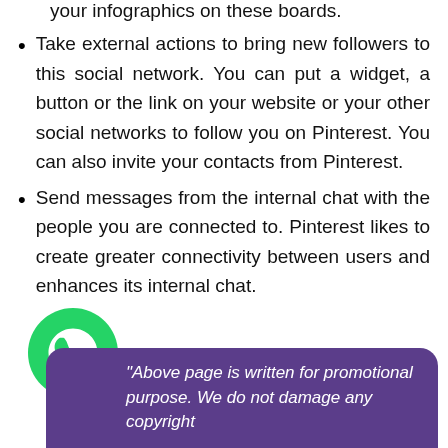your infographics on these boards.
Take external actions to bring new followers to this social network. You can put a widget, a button or the link on your website or your other social networks to follow you on Pinterest. You can also invite your contacts from Pinterest.
Send messages from the internal chat with the people you are connected to. Pinterest likes to create greater connectivity between users and enhances its internal chat.
[Figure (logo): WhatsApp logo - green circle with white phone handset icon]
"Above page is written for promotional purpose. We do not damage any copyright